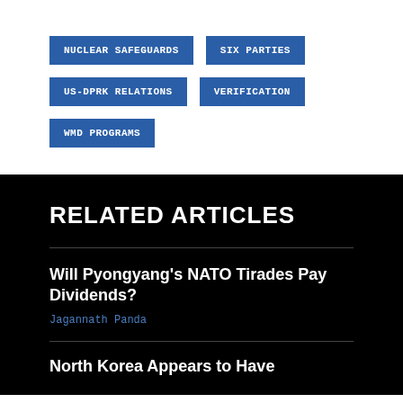NUCLEAR SAFEGUARDS
SIX PARTIES
US-DPRK RELATIONS
VERIFICATION
WMD PROGRAMS
RELATED ARTICLES
Will Pyongyang's NATO Tirades Pay Dividends?
Jagannath Panda
North Korea Appears to Have